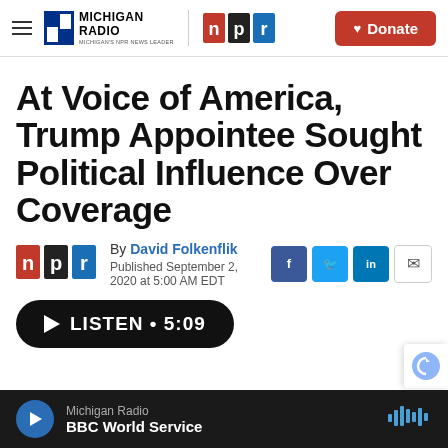Michigan Radio | NPR — Donate
At Voice of America, Trump Appointee Sought Political Influence Over Coverage
By David Folkenflik
Published September 2, 2020 at 5:00 AM EDT
LISTEN • 5:09
Michigan Radio — BBC World Service